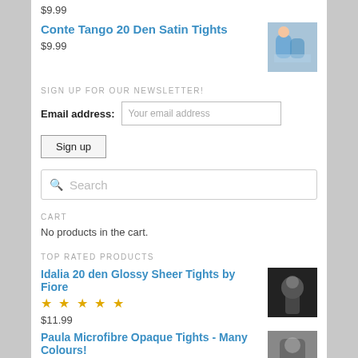$9.99
Conte Tango 20 Den Satin Tights
$9.99
SIGN UP FOR OUR NEWSLETTER!
Email address: Your email address
Sign up
Search
CART
No products in the cart.
TOP RATED PRODUCTS
Idalia 20 den Glossy Sheer Tights by Fiore
$11.99
Paula Microfibre Opaque Tights - Many Colours!